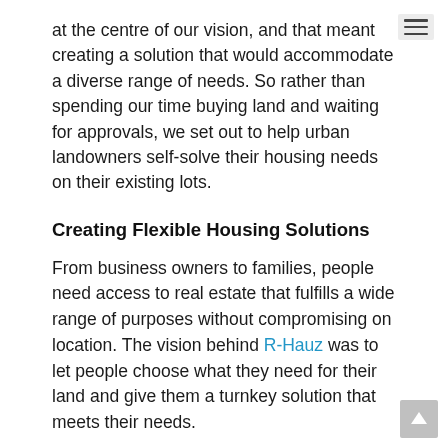at the centre of our vision, and that meant creating a solution that would accommodate a diverse range of needs. So rather than spending our time buying land and waiting for approvals, we set out to help urban landowners self-solve their housing needs on their existing lots.
Creating Flexible Housing Solutions
From business owners to families, people need access to real estate that fulfills a wide range of purposes without compromising on location. The vision behind R-Hauz was to let people choose what they need for their land and give them a turnkey solution that meets their needs.
Specifically, we needed to create more functional space on existing lots. Planners in Toronto often refer to the “over-housed situation,” where the areas behind the main streets are full of partially occupied